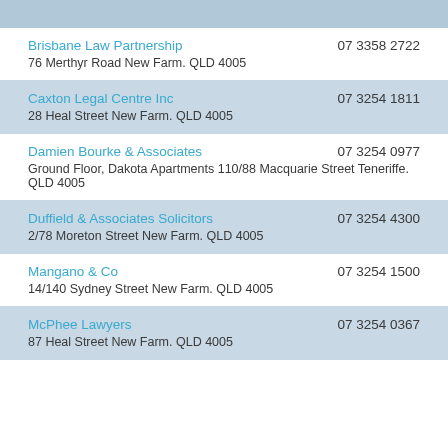Brisbane Law Partnership
76 Merthyr Road New Farm. QLD 4005
07 3358 2722
Caxton Legal Centre Inc
28 Heal Street New Farm. QLD 4005
07 3254 1811
Damien Bourke & Associates
Ground Floor, Dakota Apartments 110/88 Macquarie Street Teneriffe. QLD 4005
07 3254 0977
Duffield & Associates Solicitors
2/78 Moreton Street New Farm. QLD 4005
07 3254 4300
Mangano & Co
14/140 Sydney Street New Farm. QLD 4005
07 3254 1500
McPhee Lawyers
87 Heal Street New Farm. QLD 4005
07 3254 0367